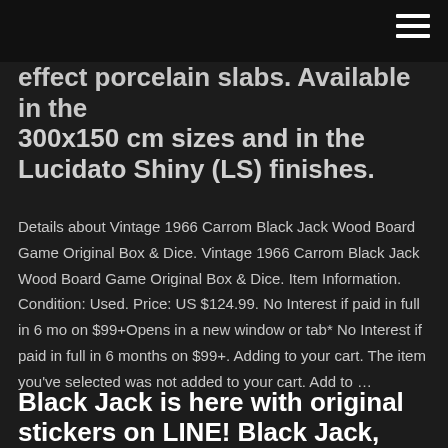effect porcelain slabs. Available in the 300x150 cm sizes and in the Lucidato Shiny (LS) finishes.
Details about Vintage 1966 Carrom Black Jack Wood Board Game Original Box & Dice. Vintage 1966 Carrom Black Jack Wood Board Game Original Box & Dice. Item Information. Condition: Used. Price: US $124.99. No Interest if paid in full in 6 mo on $99+Opens in a new window or tab* No Interest if paid in full in 6 months on $99+. Adding to your cart. The item you've selected was not added to your cart. Add to …
Black Jack is here with original stickers on LINE! Black Jack,